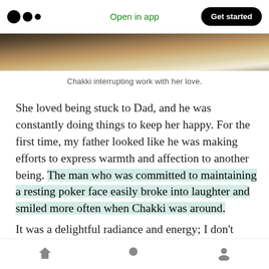Open in app  Get started
[Figure (photo): Partial photo of a cat on a desk near a laptop, cropped at top]
Chakki interrupting work with her love.
She loved being stuck to Dad, and he was constantly doing things to keep her happy. For the first time, my father looked like he was making efforts to express warmth and affection to another being. The man who was committed to maintaining a resting poker face easily broke into laughter and smiled more often when Chakki was around.
It was a delightful radiance and energy; I don't
Home  Search  Profile